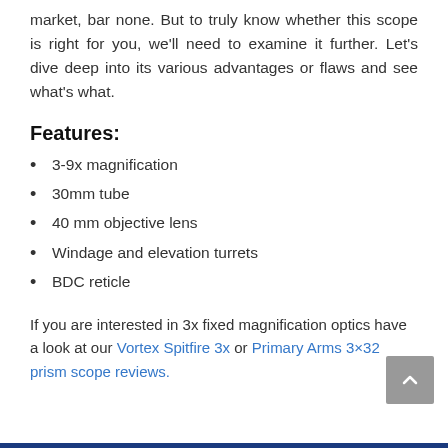market, bar none. But to truly know whether this scope is right for you, we'll need to examine it further. Let's dive deep into its various advantages or flaws and see what's what.
Features:
3-9x magnification
30mm tube
40 mm objective lens
Windage and elevation turrets
BDC reticle
If you are interested in 3x fixed magnification optics have a look at our Vortex Spitfire 3x or Primary Arms 3×32 prism scope reviews.